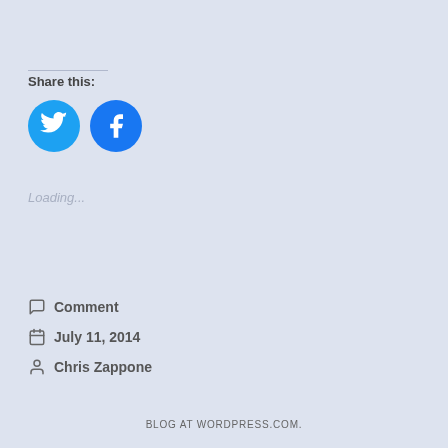Share this:
[Figure (illustration): Two circular social media share buttons: Twitter (blue bird icon) and Facebook (blue F icon)]
Loading...
Comment
July 11, 2014
Chris Zappone
BLOG AT WORDPRESS.COM.